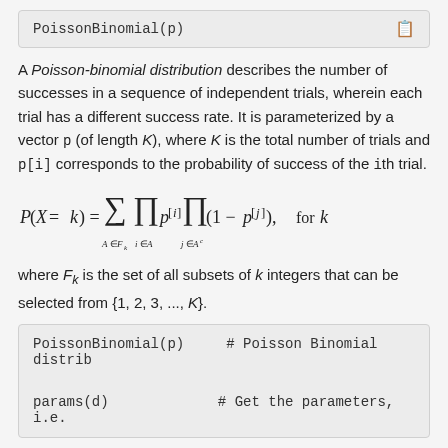PoissonBinomial(p)
A Poisson-binomial distribution describes the number of successes in a sequence of independent trials, wherein each trial has a different success rate. It is parameterized by a vector p (of length K), where K is the total number of trials and p[i] corresponds to the probability of success of the ith trial.
where F_k is the set of all subsets of k integers that can be selected from {1, 2, 3, ..., K}.
PoissonBinomial(p)    # Poisson Binomial distrib

params(d)             # Get the parameters, i.e.